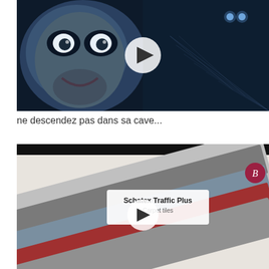[Figure (photo): Video thumbnail showing a scared man's face on the left side and a dark staircase with glowing ghost eyes on the right side, with a play button overlay in the center.]
ne descendez pas dans sa cave...
[Figure (photo): Video thumbnail showing stacked carpet swatches in grey, blue, and red tones with a label reading 'Schatex Traffic Plus' and a play button overlay. A cursive 'B' logo appears in the top right corner.]